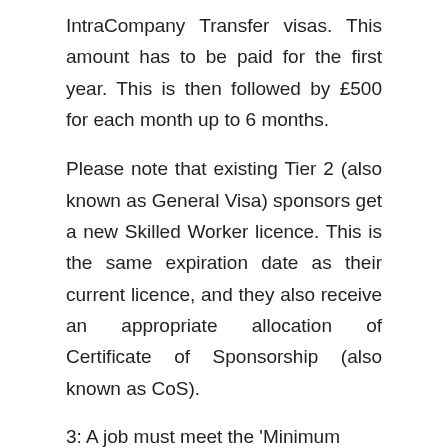IntraCompany Transfer visas. This amount has to be paid for the first year. This is then followed by £500 for each month up to 6 months.
Please note that existing Tier 2 (also known as General Visa) sponsors get a new Skilled Worker licence. This is the same expiration date as their current licence, and they also receive an appropriate allocation of Certificate of Sponsorship (also known as CoS).
3: A job must meet the 'Minimum Salary Threshold' or the UK's 'Going Rate'
The Minimum Salary Threshold for any job offer